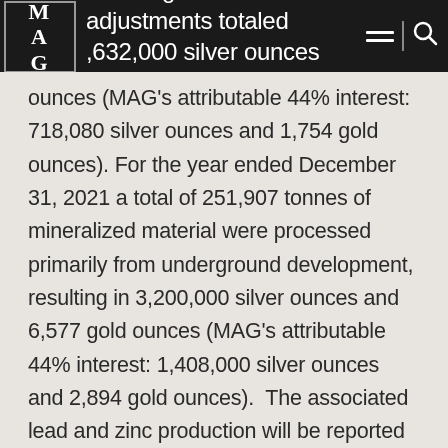fftake agreement adjustments totaled ,632,000 silver ounces and 3,9bb gold
ounces (MAG's attributable 44% interest: 718,080 silver ounces and 1,754 gold ounces). For the year ended December 31, 2021 a total of 251,907 tonnes of mineralized material were processed primarily from underground development, resulting in 3,200,000 silver ounces and 6,577 gold ounces (MAG's attributable 44% interest: 1,408,000 silver ounces and 2,894 gold ounces). The associated lead and zinc production will be reported with MAG's